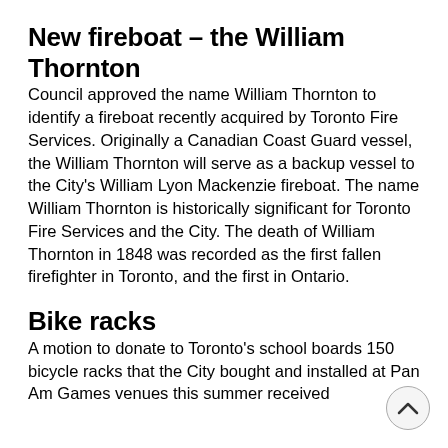New fireboat – the William Thornton
Council approved the name William Thornton to identify a fireboat recently acquired by Toronto Fire Services. Originally a Canadian Coast Guard vessel, the William Thornton will serve as a backup vessel to the City's William Lyon Mackenzie fireboat. The name William Thornton is historically significant for Toronto Fire Services and the City. The death of William Thornton in 1848 was recorded as the first fallen firefighter in Toronto, and the first in Ontario.
Bike racks
A motion to donate to Toronto's school boards 150 bicycle racks that the City bought and installed at Pan Am Games venues this summer received